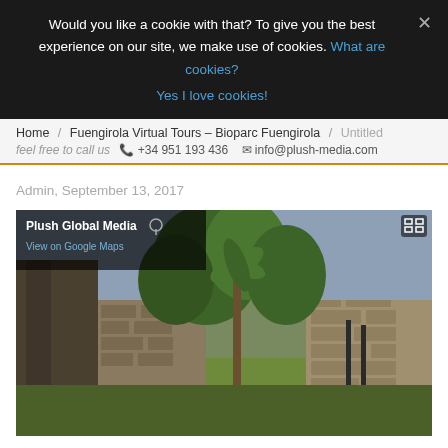Would you like a cookie with that? To give you the best experience on our site, we make use of cookies. What are cookies? Yes I love cookies!
Home / Fuengirola Virtual Tours – Bioparc Fuengirola / Untitled
feel free to call us  +34 951 193 436  info@plush-media.com
Admin, September 13, 2017
[Figure (photo): Google Street View style panoramic photo of Bioparc Fuengirola showing stone ruins, palm trees, lush green vegetation, and a stone wall. Overlay shows 'Plush Global Media' label with a location pin and 'View on Google Maps' link in top left, and a fullscreen icon in top right.]